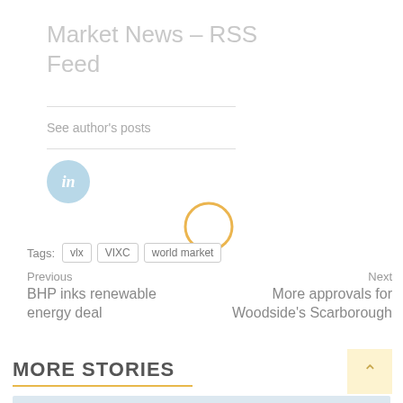Market News – RSS Feed
See author's posts
[Figure (logo): LinkedIn icon — blue circle with white italic 'in' letter]
[Figure (other): Loading spinner — orange circle outline]
Tags: vlx | VIXC | world market
Previous
BHP inks renewable energy deal
Next
More approvals for Woodside's Scarborough
MORE STORIES
[Figure (photo): Partial image strip at bottom of page]